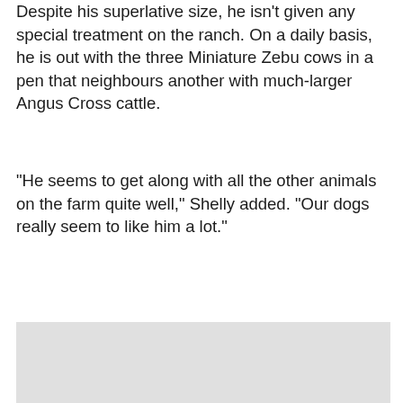Despite his superlative size, he isn't given any special treatment on the ranch. On a daily basis, he is out with the three Miniature Zebu cows in a pen that neighbours another with much-larger Angus Cross cattle.
"He seems to get along with all the other animals on the farm quite well," Shelly added. "Our dogs really seem to like him a lot."
[Figure (photo): A large light gray rectangular image placeholder block at the bottom of the page.]